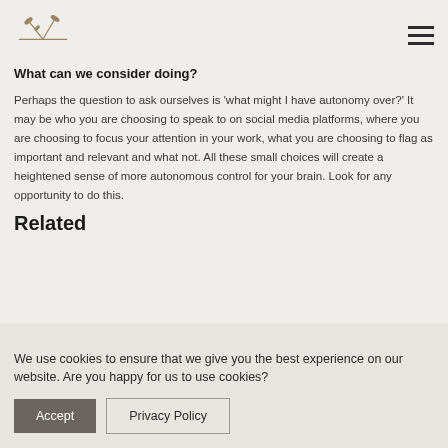[Logo and navigation menu icon]
What can we consider doing?
Perhaps the question to ask ourselves is ‘what might I have autonomy over?’ It may be who you are choosing to speak to on social media platforms, where you are choosing to focus your attention in your work, what you are choosing to flag as important and relevant and what not. All these small choices will create a heightened sense of more autonomous control for your brain. Look for any opportunity to do this.
Related
We use cookies to ensure that we give you the best experience on our website. Are you happy for us to use cookies?